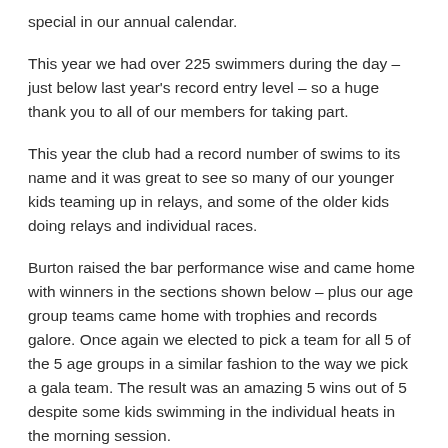special in our annual calendar.
This year we had over 225 swimmers during the day – just below last year's record entry level – so a huge thank you to all of our members for taking part.
This year the club had a record number of swims to its name and it was great to see so many of our younger kids teaming up in relays, and some of the older kids doing relays and individual races.
Burton raised the bar performance wise and came home with winners in the sections shown below – plus our age group teams came home with trophies and records galore. Once again we elected to pick a team for all 5 of the 5 age groups in a similar fashion to the way we pick a gala team. The result was an amazing 5 wins out of 5 despite some kids swimming in the individual heats in the morning session.